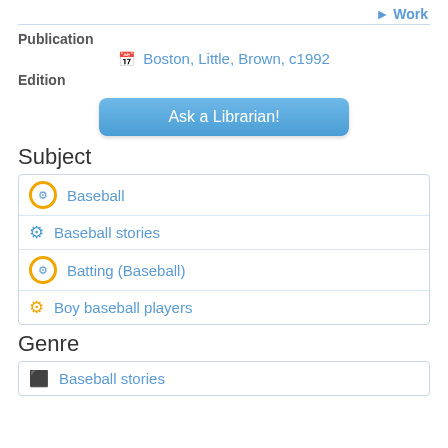Work
Publication
Boston, Little, Brown, c1992
Edition
[Figure (other): Ask a Librarian! button]
Subject
Baseball
Baseball stories
Batting (Baseball)
Boy baseball players
Genre
Baseball stories